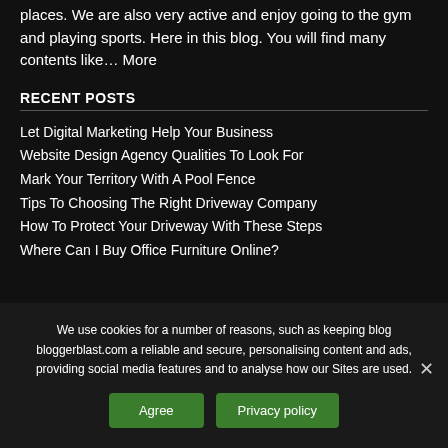places. We are also very active and enjoy going to the gym and playing sports. Here in this blog. You will find many contents like… More
RECENT POSTS
Let Digital Marketing Help Your Business
Website Design Agency Qualities To Look For
Mark Your Territory With A Pool Fence
Tips To Choosing The Right Driveway Company
How To Protect Your Driveway With These Steps
Where Can I Buy Office Furniture Online?
We use cookies for a number of reasons, such as keeping blog bloggerblast.com a reliable and secure, personalising content and ads, providing social media features and to analyse how our Sites are used.